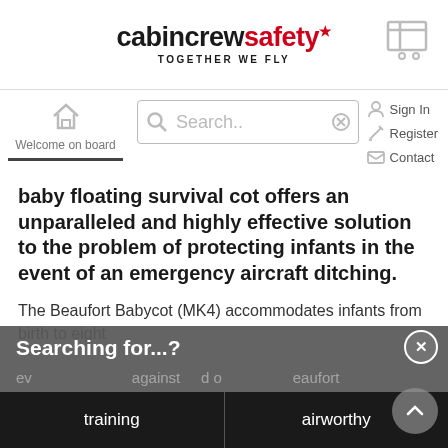cabincrewsafety TOGETHER WE FLY
[Figure (screenshot): Navigation bar with home icon, search box, sign in, register, contact links]
Welcome on board
baby floating survival cot offers an unparalleled and highly effective solution to the problem of protecting infants in the event of an emergency aircraft ditching.
The Beaufort Babycot (MK4) accommodates infants from birth to eight
Searching for...?
training
airworthy